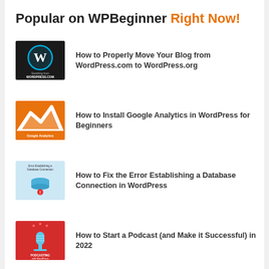Popular on WPBeginner Right Now!
How to Properly Move Your Blog from WordPress.com to WordPress.org
How to Install Google Analytics in WordPress for Beginners
How to Fix the Error Establishing a Database Connection in WordPress
How to Start a Podcast (and Make it Successful) in 2022